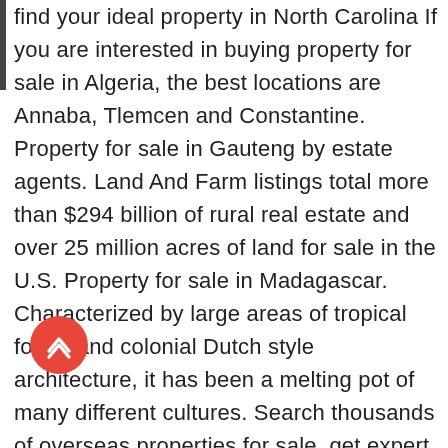find your ideal property in North Carolina If you are interested in buying property for sale in Algeria, the best locations are Annaba, Tlemcen and Constantine. Property for sale in Gauteng by estate agents. Land And Farm listings total more than $294 billion of rural real estate and over 25 million acres of land for sale in the U.S. Property for sale in Madagascar. Characterized by large areas of tropical forest and colonial Dutch style architecture, it has been a melting pot of many different cultures. Search thousands of overseas properties for sale, get expert buying advice about property abroad. Take your real estate search to the Next Level. Property for sale in Hondeklip Bay. Private Property is your property portal for all the best listings around South Africa. Discover everything from office buildings to multi-family apartment investment properties only available here. Annaba is certainly one of the most beautiful cities where buying a property for sale in Algeria. Suriname is a small
[Figure (other): Red circular scroll-to-top button with chevron/arrow icon]